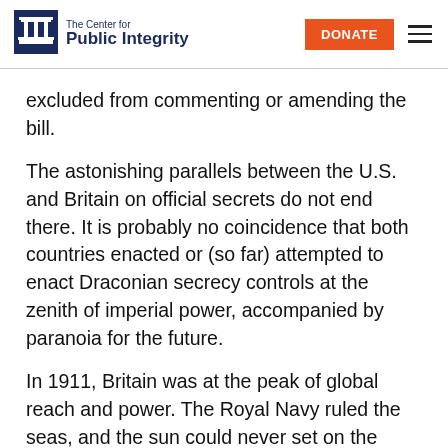The Center for Public Integrity | DONATE
excluded from commenting or amending the bill.
The astonishing parallels between the U.S. and Britain on official secrets do not end there. It is probably no coincidence that both countries enacted or (so far) attempted to enact Draconian secrecy controls at the zenith of imperial power, accompanied by paranoia for the future.
In 1911, Britain was at the peak of global reach and power. The Royal Navy ruled the seas, and the sun could never set on the British Empire.